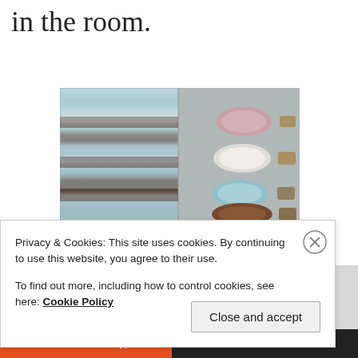in the room.
[Figure (photo): Left: a striped fabric/shower curtain with horizontal bands of teal/aqua, gray, and brown. Right: rolled towels of various colors (pink, white, teal, brown) displayed on hooks or a rack against a metallic surface. Below: a partial banner strip with small text.]
Privacy & Cookies: This site uses cookies. By continuing to use this website, you agree to their use.
To find out more, including how to control cookies, see here: Cookie Policy
Close and accept
All in One Free App
DuckDuckGo